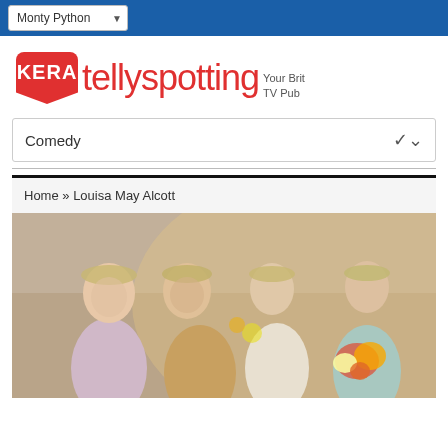Monty Python (navigation dropdown)
[Figure (logo): KERA Tellyspotting logo — red KERA speech-bubble badge followed by red 'tellyspotting' wordmark and tagline 'Your Brit TV Pub']
Comedy (category dropdown selector)
Home » Louisa May Alcott
[Figure (photo): Four young women in period costume with floral hair wreaths, standing in a rustic stone interior. The rightmost woman holds a bouquet of colorful flowers. Scene from a Louisa May Alcott adaptation.]